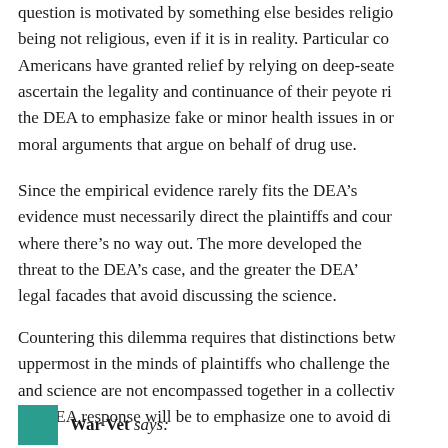question is motivated by something else besides religio being not religious, even if it is in reality. Particular co Americans have granted relief by relying on deep-seate ascertain the legality and continuance of their peyote ri the DEA to emphasize fake or minor health issues in or moral arguments that argue on behalf of drug use.
Since the empirical evidence rarely fits the DEA’s evidence must necessarily direct the plaintiffs and cour where there’s no way out. The more developed the threat to the DEA’s case, and the greater the DEA legal facades that avoid discussing the science.
Countering this dilemma requires that distinctions betw uppermost in the minds of plaintiffs who challenge the and science are not encompassed together in a collectiv the DEA response will be to emphasize one to avoid di
War Vet says: